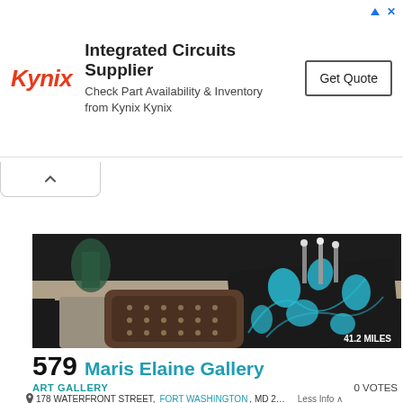[Figure (infographic): Kynix advertisement banner: Integrated Circuits Supplier — Check Part Availability & Inventory from Kynix Kynix, with a Get Quote button and Kynix logo in red italic text]
[Figure (photo): Interior photo of Maris Elaine Gallery showing decorative pillows — a brown leather studded pillow in front and a black cushion with turquoise floral pattern behind, on a wooden table with candelabras in background. Badge shows 41.2 MILES.]
579 Maris Elaine Gallery
ART GALLERY
0 VOTES
178 WATERFRONT STREET, FORT WASHINGTON, MD 2...  Less Info
Located within a modern 2,000 square foot building, the